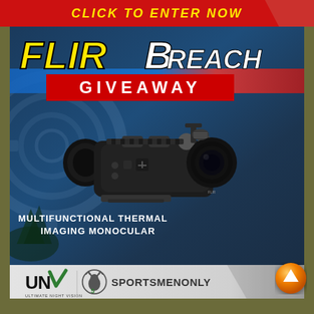CLICK TO ENTER NOW
[Figure (infographic): FLIR Breach Giveaway promotional image showing a black thermal imaging monocular device against a dark blue background with gear/machinery imagery. Text reads 'FLIR Breach' in yellow/white letters and 'GIVEAWAY' on a red band. Bottom text: 'MULTIFUNCTIONAL THERMAL IMAGING MONOCULAR'. Logos for Ultimate Night Vision (UNV) and SportsmenOnly shown in a gray bar at the bottom.]
MULTIFUNCTIONAL THERMAL IMAGING MONOCULAR
[Figure (logo): Ultimate Night Vision (UNV) logo with checkmark]
[Figure (logo): SportsmenOnly logo with deer head icon]